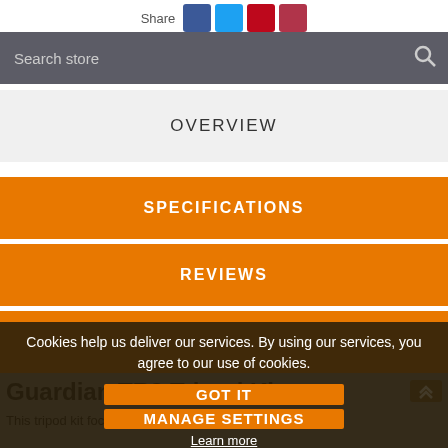Share [social icons: Facebook, Twitter, Pinterest, Google+]
Search store
OVERVIEW
SPECIFICATIONS
REVIEWS
CONTACT US
Guardian TR3 Tripod Kits
This tripod kit focuses around the Checkmate TR3 Tripod,
Cookies help us deliver our services. By using our services, you agree to our use of cookies.
GOT IT
MANAGE SETTINGS
Learn more